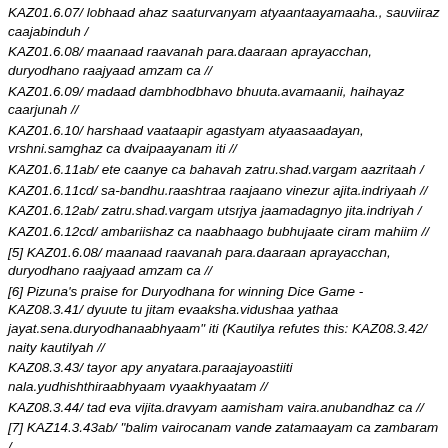KAZ01.6.07/ lobhaad ahaz saaturvanyam atyaantaayamaaha., sauviiraz caajabinduh /
KAZ01.6.08/ maanaad raavanah para.daaraan aprayacchan, duryodhano raajyaad amzam ca //
KAZ01.6.09/ madaad dambhodbhavo bhuuta.avamaanii, haihayaz caarjunah //
KAZ01.6.10/ harshaad vaataapir agastyam atyaasaadayan, vrshni.samghaz ca dvaipaayanam iti //
KAZ01.6.11ab/ ete caanye ca bahavah zatru.shad.vargam aazritaah /
KAZ01.6.11cd/ sa-bandhu.raashtraa raajaano vinezur ajita.indriyaah //
KAZ01.6.12ab/ zatru.shad.vargam utsrjya jaamadagnyo jita.indriyah /
KAZ01.6.12cd/ ambariishaz ca naabhaago bubhujaate ciram mahiim //
[5] KAZ01.6.08/ maanaad raavanah para.daaraan aprayacchan, duryodhano raajyaad amzam ca //
[6] Pizuna's praise for Duryodhana for winning Dice Game - KAZ08.3.41/ dyuute tu jitam evaaksha.vidushaa yathaa jayat.sena.duryodhanaabhyaam" iti (Kautilya refutes this: KAZ08.3.42/ naity kautilyah //
KAZ08.3.43/ tayor apy anyatara.paraajayoastiiti nala.yudhishthiraabhyaam vyaakhyaatam //
KAZ08.3.44/ tad eva vijita.dravyam aamisham vaira.anubandhaz ca //
[7] KAZ14.3.43ab/ "balim vairocanam vande zatamaayam ca zambaram /
KAZ14.3.43cd/ nikumbham narakam kumbham tantu.kaccham mahaa.asuram //
KAZ14.3.44ab/ armaalayam pramiilam ca manda.uluukam